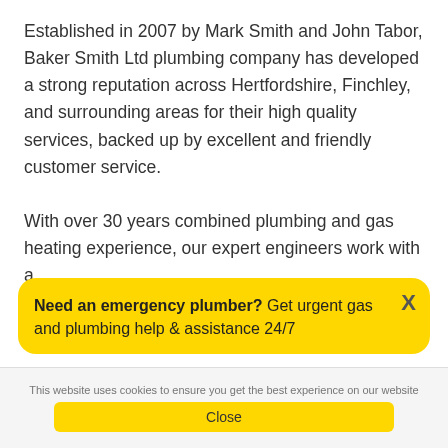Established in 2007 by Mark Smith and John Tabor, Baker Smith Ltd plumbing company has developed a strong reputation across Hertfordshire, Finchley, and surrounding areas for their high quality services, backed up by excellent and friendly customer service.

With over 30 years combined plumbing and gas heating experience, our expert engineers work with a
Need an emergency plumber? Get urgent gas and plumbing help & assistance 24/7
This website uses cookies to ensure you get the best experience on our website
Close